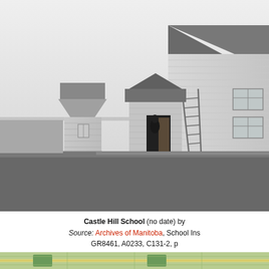[Figure (photo): Black and white historical photograph of Castle Hill School, showing a white clapboard one-room schoolhouse with a gabled entry vestibule, a separate small outbuilding to the left, and a ladder leaning against the exterior wall. The building sits on a flat grassy prairie landscape.]
Castle Hill School (no date) by... Source: Archives of Manitoba, School Ins... GR8461, A0233, C131-2, p...
[Figure (map): Partial view of a green-toned map at the bottom of the page, cropped.]